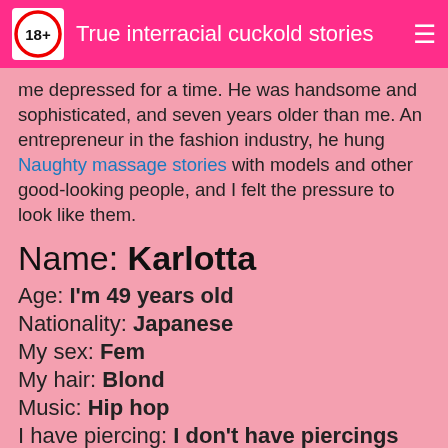True interracial cuckold stories
me depressed for a time. He was handsome and sophisticated, and seven years older than me. An entrepreneur in the fashion industry, he hung Naughty massage stories with models and other good-looking people, and I felt the pressure to look like them.
Name: Karlotta
Age: I'm 49 years old
Nationality: Japanese
My sex: Fem
My hair: Blond
Music: Hip hop
I have piercing: I don't have piercings